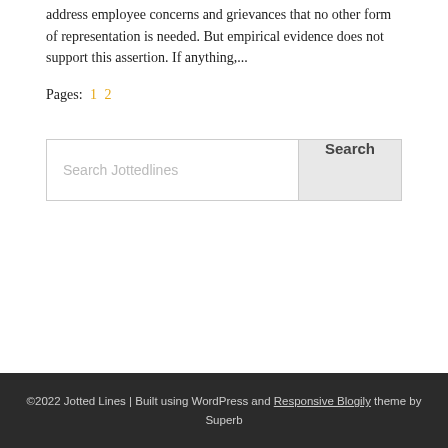address employee concerns and grievances that no other form of representation is needed. But empirical evidence does not support this assertion. If anything,...
Pages: 1 2
Search Jottedlines
©2022 Jotted Lines | Built using WordPress and Responsive Blogily theme by Superb